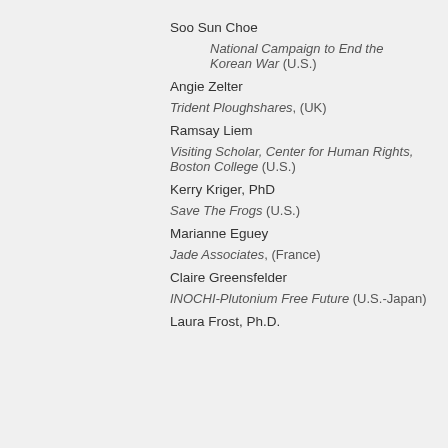Soo Sun Choe
National Campaign to End the Korean War (U.S.)
Angie Zelter
Trident Ploughshares, (UK)
Ramsay Liem
Visiting Scholar, Center for Human Rights, Boston College (U.S.)
Kerry Kriger, PhD
Save The Frogs (U.S.)
Marianne Eguey
Jade Associates, (France)
Claire Greensfelder
INOCHI-Plutonium Free Future (U.S.-Japan)
Laura Frost, Ph.D.